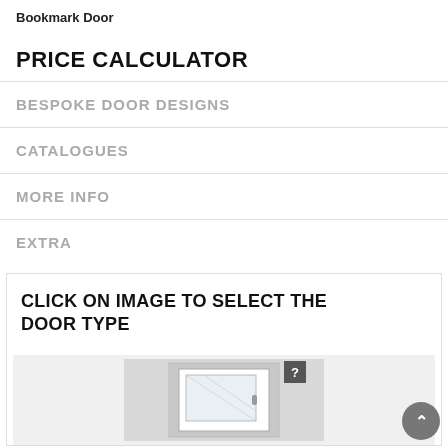Bookmark Door
PRICE CALCULATOR
BESPOKE DOOR DESIGNS
CATALOGUES
MORE INFO
EXTRA
CLICK ON IMAGE TO SELECT THE DOOR TYPE
[Figure (illustration): A door illustration with a question mark badge in the top right corner, shown on a light gray background. A scroll-to-top button with a caret symbol is in the bottom right.]